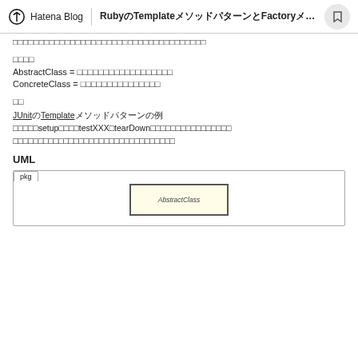Hatena Blog | RubyのTemplateメソッドパターンとFactoryメソッドパターン
□□□□□□□□□□□□□□□□□□□□□□□□□□□□□□□□□□□□□□□□
□□□□
AbstractClass = □□□□□□□□□□□□□□□□□□
ConcreteClass = □□□□□□□□□□□□□□□
□□
JUnitのTemplateメソッドパターンの例
□□□□□□setup□□□□□testXXX□tearDown□□□□□□□□□□□□□□□□
□□□□□□□□□□□□□□□□□□□□□□□□□□□□□□□□□
UML
[Figure (engineering-diagram): UML package diagram with pkg label and AbstractClass box]